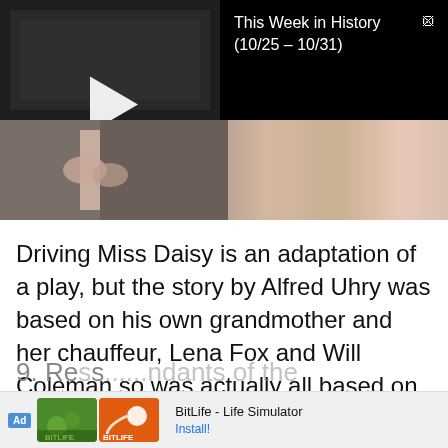[Figure (screenshot): Video thumbnail showing 'THIS WEEK IN HISTORY' text with a play button, alongside a black panel showing the title 'This Week in History (10/25 – 10/31)' with a close button]
[Figure (photo): Close-up photo of what appears to be fabric or clothing in grey and pink tones with hands visible]
Driving Miss Daisy is an adaptation of a play, but the story by Alfred Uhry was based on his own grandmother and her chauffeur, Lena Fox and Will Coleman so was actually all based on fact.
9. Re…ndants of the
[Figure (screenshot): Advertisement for BitLife - Life Simulator app with green and orange imagery and 'Install!' link]